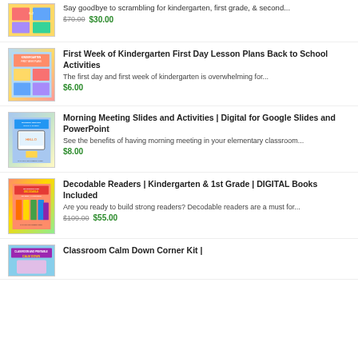[Figure (illustration): Product thumbnail for K-2 bundle]
Say goodbye to scrambling for kindergarten, first grade, & second...
$70.00 $30.00
[Figure (illustration): Kindergarten First Week Plans product thumbnail]
First Week of Kindergarten First Day Lesson Plans Back to School Activities
The first day and first week of kindergarten is overwhelming for...
$6.00
[Figure (illustration): Morning Meeting Digital Slides product thumbnail]
Morning Meeting Slides and Activities | Digital for Google Slides and PowerPoint
See the benefits of having morning meeting in your elementary classroom...
$8.00
[Figure (illustration): Differentiated Decodable Readers The Bundle product thumbnail]
Decodable Readers | Kindergarten & 1st Grade | DIGITAL Books Included
Are you ready to build strong readers? Decodable readers are a must for...
$109.00 $55.00
[Figure (illustration): Classroom Calm Down Corner Kit product thumbnail]
Classroom Calm Down Corner Kit |